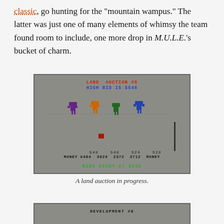classic, go hunting for the "mountain wampus." The latter was just one of many elements of whimsy the team found room to include, one more drop in M.U.L.E.'s bucket of charm.
[Figure (screenshot): A game screenshot showing a land auction screen. Text reads: LAND AUCTION #8 / HIGH BID IS $546. Four colored character sprites are shown on a horizontal line. A vertical bar appears on the right. A small M.U.L.E. icon is centered. Bottom stats show: 548 548 524 528 / MONEY 5484 3829 2372 3712 MONEY. Green text reads: BIDS START AT $432]
A land auction in progress.
[Figure (screenshot): Bottom of another game screenshot showing 'DEVELOPMENT #8' header text.]